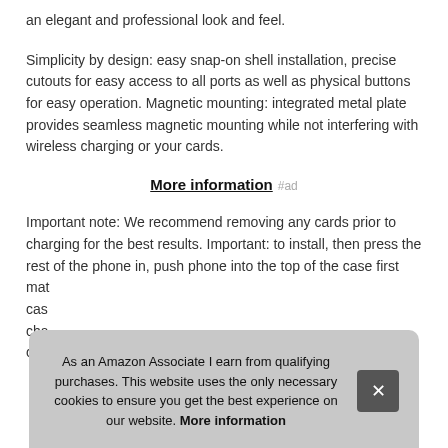an elegant and professional look and feel.
Simplicity by design: easy snap-on shell installation, precise cutouts for easy access to all ports as well as physical buttons for easy operation. Magnetic mounting: integrated metal plate provides seamless magnetic mounting while not interfering with wireless charging or your cards.
More information #ad
Important note: We recommend removing any cards prior to charging for the best results. Important: to install, then press the rest of the phone in, push phone into the top of the case first [obscured] mat [obscured] cas [obscured] cha [obscured] com [obscured]
As an Amazon Associate I earn from qualifying purchases. This website uses the only necessary cookies to ensure you get the best experience on our website. More information